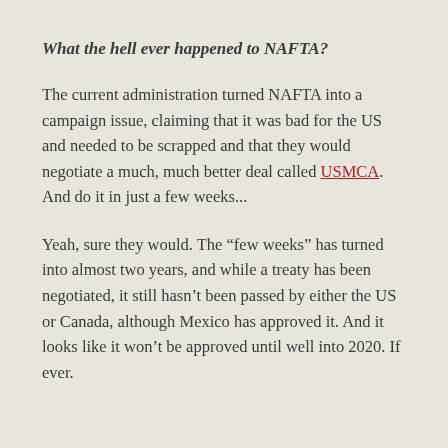What the hell ever happened to NAFTA?
The current administration turned NAFTA into a campaign issue, claiming that it was bad for the US and needed to be scrapped and that they would negotiate a much, much better deal called USMCA. And do it in just a few weeks...
Yeah, sure they would. The “few weeks” has turned into almost two years, and while a treaty has been negotiated, it still hasn’t been passed by either the US or Canada, although Mexico has approved it. And it looks like it won’t be approved until well into 2020. If ever.